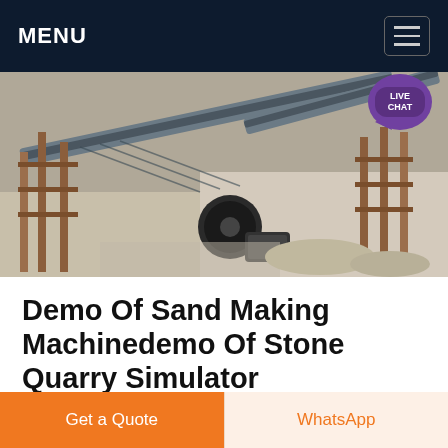MENU
[Figure (photo): Industrial stone crushing / sand making machinery at a quarry site, showing conveyor belts, metal framework, and machinery with a dusty outdoor setting. A 'LIVE CHAT' badge appears in the top-right corner.]
Demo Of Sand Making Machinedemo Of Stone Quarry Simulator
Demo Of Sand Making Machinedemo Of Stone Quarry Simulator We are a professional mechanical equipment
Get a Quote
WhatsApp